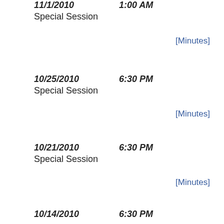11/1/2010   1:00 AM
Special Session
[Minutes]
10/25/2010   6:30 PM
Special Session
[Minutes]
10/21/2010   6:30 PM
Special Session
[Minutes]
10/14/2010   6:30 PM
Regular Meeting
[Minutes]
10/11/2010   6:30 PM
Special Session